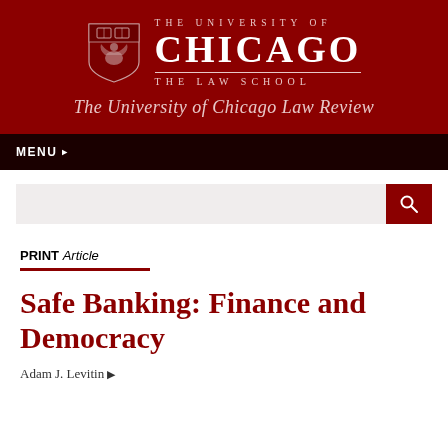[Figure (logo): University of Chicago Law School shield logo with text: THE UNIVERSITY OF CHICAGO, THE LAW SCHOOL]
The University of Chicago Law Review
MENU
Safe Banking: Finance and Democracy
PRINT Article
Adam J. Levitin